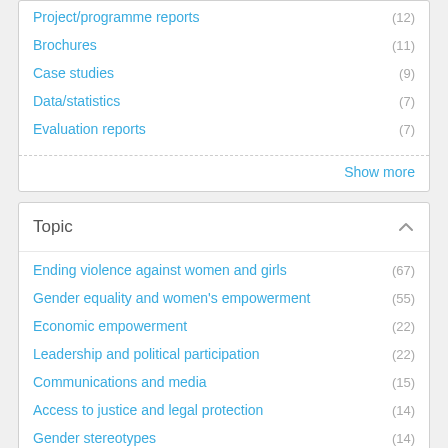Project/programme reports (12)
Brochures (11)
Case studies (9)
Data/statistics (7)
Evaluation reports (7)
Show more
Topic
Ending violence against women and girls (67)
Gender equality and women's empowerment (55)
Economic empowerment (22)
Leadership and political participation (22)
Communications and media (15)
Access to justice and legal protection (14)
Gender stereotypes (14)
Governance and national planning (14)
Anti-violence interventions (13)